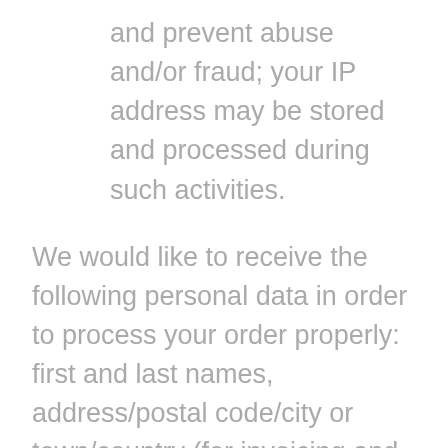and prevent abuse and/or fraud; your IP address may be stored and processed during such activities.
We would like to receive the following personal data in order to process your order properly: first and last names, address/postal code/city or town/country (for invoicing and different delivery address, where applicable), telephone number, email address and IP address. We will not store your data for longer than permitted by the legal term. You can revoke your consent at any time whatsoever.